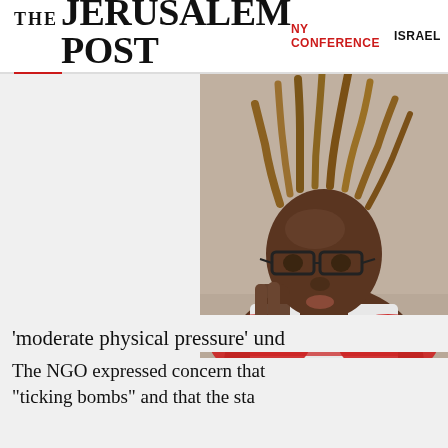THE JERUSALEM POST | NY CONFERENCE | ISRAEL
[Figure (photo): Photo of a young person with dreadlocks wearing glasses and a red and white striped shirt, resting their head on their hand in a contemplative pose. Overlaid with a black advertisement box reading 'Click to Learn How / Quarantine May Change...' with media player controls (pause and next buttons) visible.]
Sponsored by NPRC
'moderate physical pressure' und
The NGO expressed concern that "ticking bombs" and that the sta